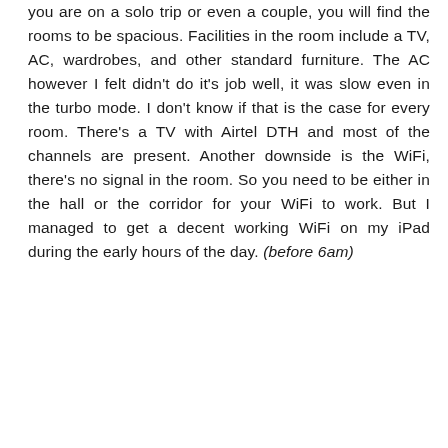you are on a solo trip or even a couple, you will find the rooms to be spacious. Facilities in the room include a TV, AC, wardrobes, and other standard furniture. The AC however I felt didn't do it's job well, it was slow even in the turbo mode. I don't know if that is the case for every room. There's a TV with Airtel DTH and most of the channels are present. Another downside is the WiFi, there's no signal in the room. So you need to be either in the hall or the corridor for your WiFi to work. But I managed to get a decent working WiFi on my iPad during the early hours of the day. (before 6am)